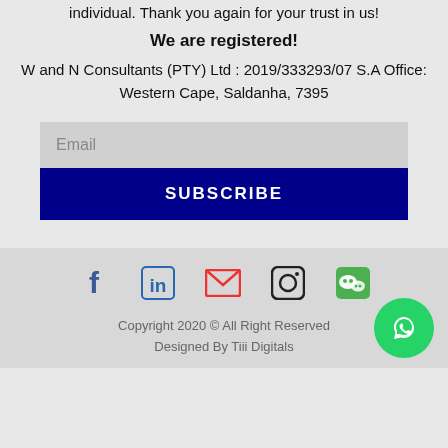individual. Thank you again for your trust in us!
We are registered!
W and N Consultants (PTY) Ltd : 2019/333293/07 S.A Office: Western Cape, Saldanha, 7395
Email
SUBSCRIBE
[Figure (illustration): Social media icons: Facebook, LinkedIn, Email, Instagram, WeChat]
Copyright 2020 © All Right Reserved
Designed By Tiii Digitals
[Figure (logo): WhatsApp button green circle with phone icon]